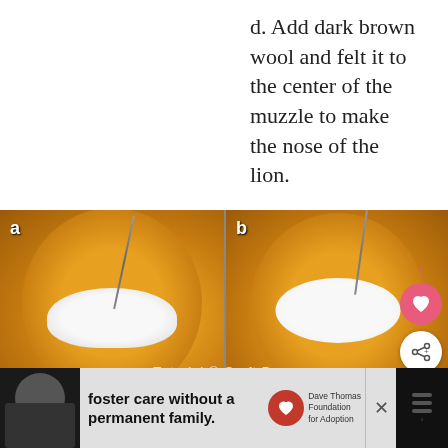d. Add dark brown wool and felt it to the center of the muzzle to make the nose of the lion.
[Figure (photo): Four-panel photo grid showing steps a, b, c, d of needle felting a lion muzzle and nose onto an orange felt ball. Panel a shows white wool being felted onto orange ball with needle. Panel b shows more shaped white muzzle with heart/share UI overlays. Panel c shows smooth orange ball with blended white muzzle. Panel d shows the next step with dark brown nose addition, with 'What's Next: Needle Felted Minion - Eas...' overlay.]
Tutorial © Craft Pass
[Figure (screenshot): Advertisement bar at bottom: black-and-white photo of man on left, text 'foster care without a permanent family.' in center, Dave Thomas Foundation for Adoption logo, close button and dark right panel with icons.]